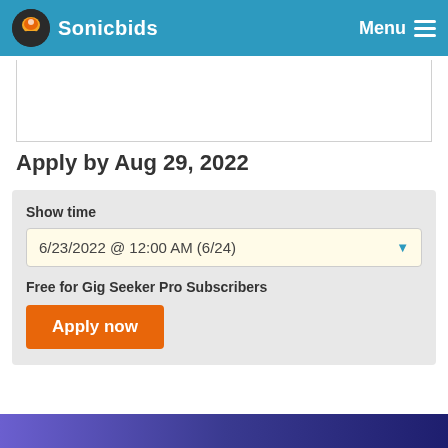Sonicbids — Menu
[Figure (screenshot): White content box area (partial, top of page)]
Apply by Aug 29, 2022
Show time
6/23/2022 @ 12:00 AM (6/24)
Free for Gig Seeker Pro Subscribers
Apply now
[Figure (photo): Partial photo visible at bottom of page with purple/blue tones]